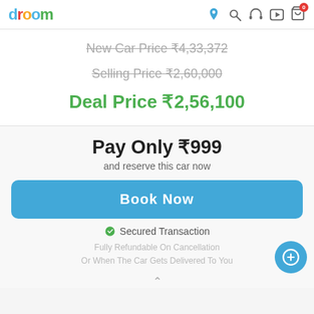droom
New Car Price ₹4,33,372
Selling Price ₹2,60,000
Deal Price ₹2,56,100
Pay Only ₹999
and reserve this car now
Book Now
Secured Transaction
Fully Refundable On Cancellation
Or When The Car Gets Delivered To You